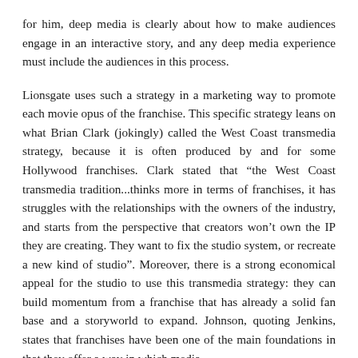for him, deep media is clearly about how to make audiences engage in an interactive story, and any deep media experience must include the audiences in this process.
Lionsgate uses such a strategy in a marketing way to promote each movie opus of the franchise. This specific strategy leans on what Brian Clark (jokingly) called the West Coast transmedia strategy, because it is often produced by and for some Hollywood franchises. Clark stated that "the West Coast transmedia tradition...thinks more in terms of franchises, it has struggles with the relationships with the owners of the industry, and starts from the perspective that creators won't own the IP they are creating. They want to fix the studio system, or recreate a new kind of studio". Moreover, there is a strong economical appeal for the studio to use this transmedia strategy: they can build momentum from a franchise that has already a solid fan base and a storyworld to expand. Johnson, quoting Jenkins, states that franchises have been one of the main foundations in that they offer a way in which media